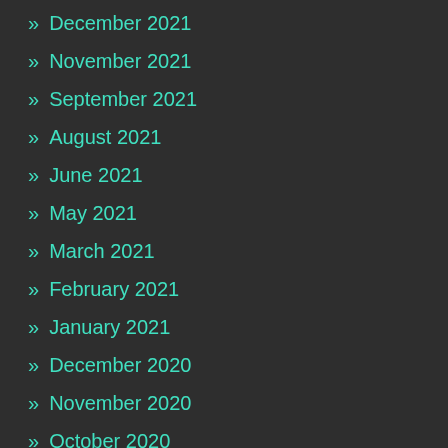» December 2021
» November 2021
» September 2021
» August 2021
» June 2021
» May 2021
» March 2021
» February 2021
» January 2021
» December 2020
» November 2020
» October 2020
» September 2020
» August 2020